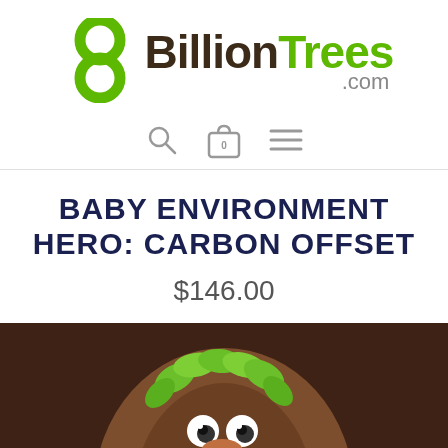[Figure (logo): 8 Billion Trees .com logo with green figure-8 tree icon and dark brown/green text]
[Figure (other): Navigation icons: search magnifying glass, shopping cart with 0, hamburger menu]
BABY ENVIRONMENT HERO: CARBON OFFSET
$146.00
[Figure (illustration): Dark brown background with cartoon koala/tree creature character with green leaves on head, cartoon eyes, on a brown circular tree trunk shape]